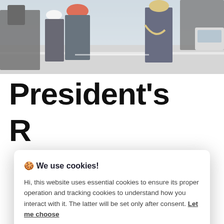[Figure (photo): Military ceremony photo showing uniformed officers on a street, partially visible at the top of the page behind a cookie consent dialog]
President's
R... (partially obscured)
🍪 We use cookies!
Hi, this website uses essential cookies to ensure its proper operation and tracking cookies to understand how you interact with it. The latter will be set only after consent. Let me choose
Accept all
Reject all